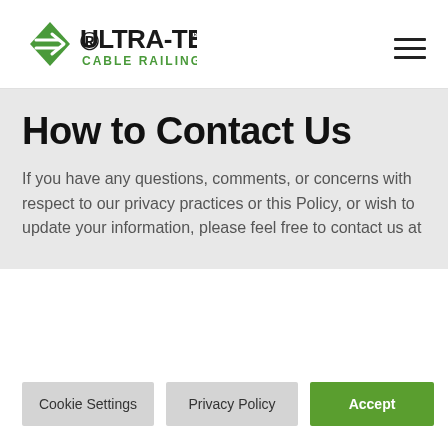[Figure (logo): Ultra-Tec Cable Railing logo with green diamond arrow icon and dark text]
How to Contact Us
If you have any questions, comments, or concerns with respect to our privacy practices or this Policy, or wish to update your information, please feel free to contact us at
Cookie Settings
Privacy Policy
Accept